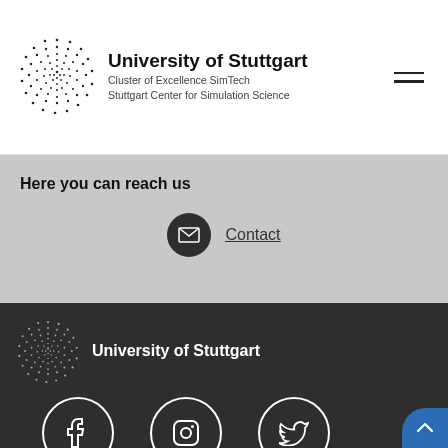University of Stuttgart — Cluster of Excellence SimTech — Stuttgart Center for Simulation Science
Here you can reach us
Contact
[Figure (logo): University of Stuttgart logo with dot-pattern circle and text, and social media icons (Facebook, Instagram, Twitter) in footer]